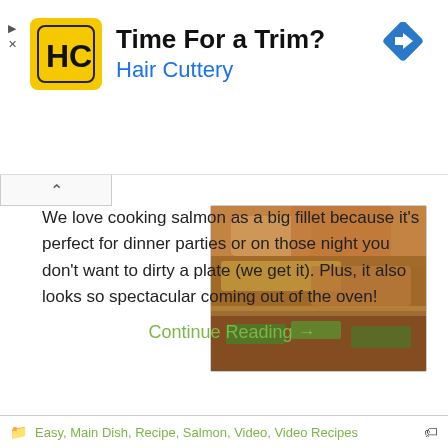[Figure (advertisement): Hair Cuttery ad banner with yellow logo showing HC initials, headline 'Time For a Trim?' and subheadline 'Hair Cuttery' in blue, with blue diamond navigation icon on the right]
[Figure (photo): Close-up photo of a baked salmon fillet with herbs, vegetables and green toppings on foil]
We love cooking salmon as a big fillet because it's perfect for dinner parties or on those night you don't want to dirty a plate (we get it). Plus, it also looks so spectacular coming out of the oven!
Continue Reading →
Easy, Main Dish, Recipe, Salmon, Video, Video Recipes